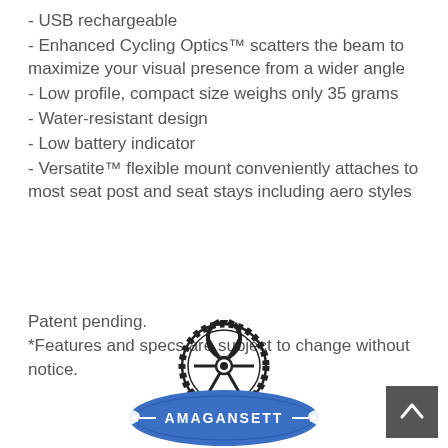- USB rechargeable
- Enhanced Cycling Optics™ scatters the beam to maximize your visual presence from a wider angle
- Low profile, compact size weighs only 35 grams
- Water-resistant design
- Low battery indicator
- Versatite™ flexible mount conveniently attaches to most seat post and seat stays including aero styles
Patent pending.
*Features and specs are subject to change without notice.
[Figure (logo): Amagansett bicycle brand logo: a gear/chainring shape on top of a blue oval with 'AMAGANSETT' text and decorative arrows]